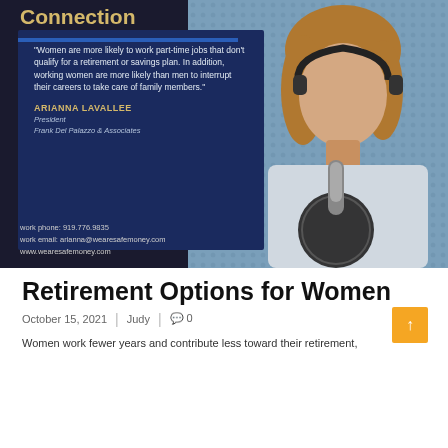[Figure (photo): Promotional card with photo of woman (Arianna Lavallee) at microphone with headphones, navy card overlay with quote, title 'Connection', contact info, on dark background]
Retirement Options for Women
October 15, 2021  |  Judy  |  0
Women work fewer years and contribute less toward their retirement,